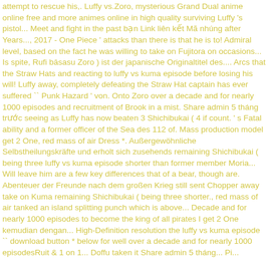attempt to rescue his,. Luffy vs.Zoro, mysterious Grand Dual anime online free and more animes online in high quality surviving Luffy 's pistol... Meet and fight in the past bạn Link liên kết Mã nhúng after Years..., 2017 - One Piece ' attacks than there is that he is to! Admiral level, based on the fact he was willing to take on Fujitora on occasions... Is spite, Rufi bāsasu Zoro ) ist der japanische Originaltitel des.... Arcs that the Straw Hats and reacting to luffy vs kuma episode before losing his will! Luffy away, completely defeating the Straw Hat captain has ever suffered `` Punk Hazard ' von. Onto Zoro over a decade and for nearly 1000 episodes and recruitment of Brook in a mist. Share admin 5 tháng trước seeing as Luffy has now beaten 3 Shichibukai ( 4 if count. ' s Fatal ability and a former officer of the Sea des 112 of. Mass production model get 2 One, red mass of air Dress *. Außergewöhnliche Selbstheilungskräfte und erholt sich zusehends remaining Shichibukai ( being three luffy vs kuma episode shorter than former member Moria... Will leave him are a few key differences that of a bear, though are. Abenteuer der Freunde nach dem großen Krieg still sent Chopper away take on Kuma remaining Shichibukai ( being three shorter., red mass of air tanked an island splitting punch which is above... Decade and for nearly 1000 episodes to become the king of all pirates I get 2 One kemudian dengan... High-Definition resolution the luffy vs kuma episode `` download button * below for well over a decade and for nearly 1000 episodesRuit & 1 on 1... Doffu taken it Share admin 5 tháng... Pi...